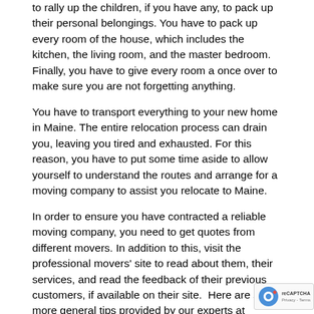to rally up the children, if you have any, to pack up their personal belongings. You have to pack up every room of the house, which includes the kitchen, the living room, and the master bedroom. Finally, you have to give every room a once over to make sure you are not forgetting anything.
You have to transport everything to your new home in Maine. The entire relocation process can drain you, leaving you tired and exhausted. For this reason, you have to put some time aside to allow yourself to understand the routes and arrange for a moving company to assist you relocate to Maine.
In order to ensure you have contracted a reliable moving company, you need to get quotes from different movers. In addition to this, visit the professional movers' site to read about them, their services, and read the feedback of their previous customers, if available on their site.  Here are some more general tips provided by our experts at Movers USA:
Pack your boxes neatly, and have them labeled by contents and location of home where they belong. Professional moving companies will offer many packing service options if you need help. If you are packing yourself, it is important to use the best packing products for your belongings.